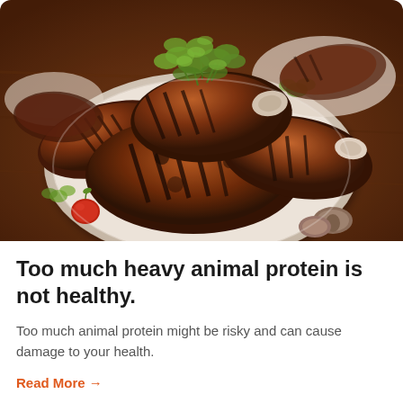[Figure (photo): A plate of grilled meat cuts (ribs and chops) with grill marks, garnished with fresh green parsley leaves, served on a white plate on a wooden surface. Cherry tomatoes and mushrooms visible in the background.]
Too much heavy animal protein is not healthy.
Too much animal protein might be risky and can cause damage to your health.
Read More →